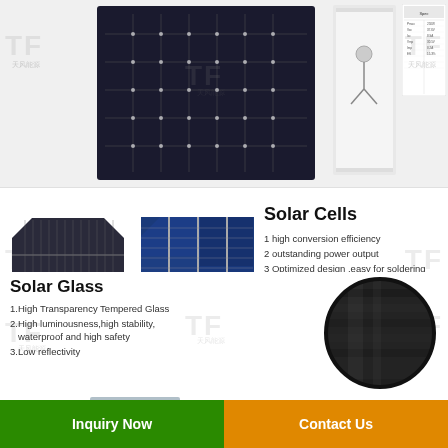[Figure (photo): Solar panel product photos: dark blue monocrystalline solar panel (front view), white framed panel (side/back view), and product specification sheet]
[Figure (photo): Two solar cells: monocrystalline (dark, octagonal-cornered) and polycrystalline (blue, rectangular)]
Solar Cells
1 high conversion efficiency
2 outstanding power output
3 Optimized design ,easy for soldering and lamination
4.Long-term stability,reliability and performance
5 Color  uniformity
Solar Glass
1.High Transparency Tempered Glass
2.High luminousness,high stability,waterproof and high safety
3.Low reflectivity
[Figure (photo): Close-up circular photo of solar glass material showing dark textured surface]
Solar Flame
[Figure (photo): Aluminum frame/rail extrusions for solar panels, partially visible at bottom]
Inquiry Now
Contact Us